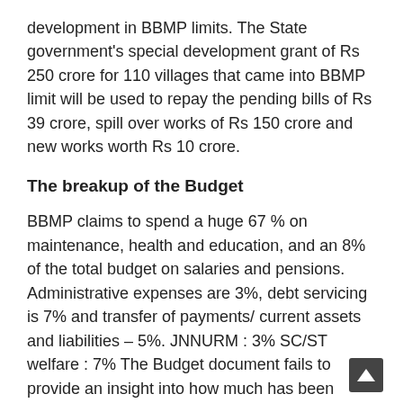development in BBMP limits. The State government's special development grant of Rs 250 crore for 110 villages that came into BBMP limit will be used to repay the pending bills of Rs 39 crore, spill over works of Rs 150 crore and new works worth Rs 10 crore.
The breakup of the Budget
BBMP claims to spend a huge 67 % on maintenance, health and education, and an 8% of the total budget on salaries and pensions. Administrative expenses are 3%, debt servicing is 7% and transfer of payments/ current assets and liabilities – 5%. JNNURM : 3% SC/ST welfare : 7% The Budget document fails to provide an insight into how much has been allotted to which sector/ which department, though the detailed Budget estimate book has the details.